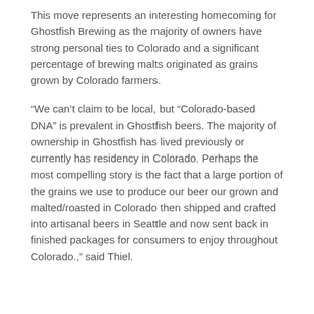This move represents an interesting homecoming for Ghostfish Brewing as the majority of owners have strong personal ties to Colorado and a significant percentage of brewing malts originated as grains grown by Colorado farmers.
“We can’t claim to be local, but “Colorado-based DNA” is prevalent in Ghostfish beers. The majority of ownership in Ghostfish has lived previously or currently has residency in Colorado. Perhaps the most compelling story is the fact that a large portion of the grains we use to produce our beer our grown and malted/roasted in Colorado then shipped and crafted into artisanal beers in Seattle and now sent back in finished packages for consumers to enjoy throughout Colorado.,” said Thiel.